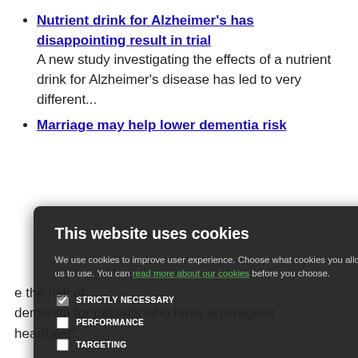Nutrient drink for Alzheimer's has disappointing result in trial — A new study investigating the effects of a nutrient drink for Alzheimer's disease has led to very different...
Marriage may help lower dementia risk — ...may help to...
...to fewer ...risk of The Guardian. ...support in the ...m mental obs each year, ...mentia risk in ...e the risk of dementia for patients who have an irregular heartbeat"
This website uses cookies

We use cookies to improve user experience. Choose what cookies you allow us to use. You can read more about our cookies before you choose.

STRICTLY NECESSARY
PERFORMANCE
TARGETING
FUNCTIONALITY

ACCEPT ALL | DECLINE ALL